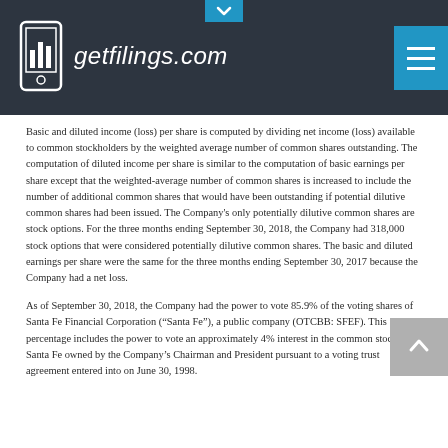getfilings.com
Basic and diluted income (loss) per share is computed by dividing net income (loss) available to common stockholders by the weighted average number of common shares outstanding. The computation of diluted income per share is similar to the computation of basic earnings per share except that the weighted-average number of common shares is increased to include the number of additional common shares that would have been outstanding if potential dilutive common shares had been issued. The Company's only potentially dilutive common shares are stock options. For the three months ending September 30, 2018, the Company had 318,000 stock options that were considered potentially dilutive common shares. The basic and diluted earnings per share were the same for the three months ending September 30, 2017 because the Company had a net loss.
As of September 30, 2018, the Company had the power to vote 85.9% of the voting shares of Santa Fe Financial Corporation (“Santa Fe”), a public company (OTCBB: SFEF). This percentage includes the power to vote an approximately 4% interest in the common stock in Santa Fe owned by the Company’s Chairman and President pursuant to a voting trust agreement entered into on June 30, 1998.